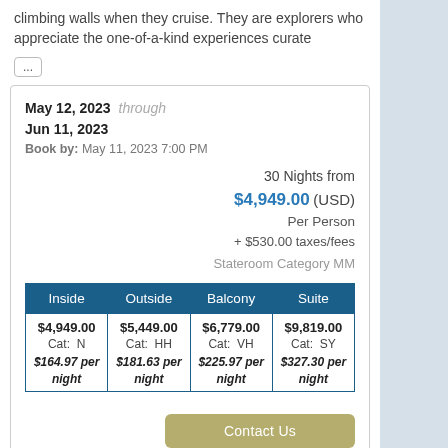climbing walls when they cruise. They are explorers who appreciate the one-of-a-kind experiences curate
...
May 12, 2023 through Jun 11, 2023
Book by: May 11, 2023 7:00 PM
30 Nights from $4,949.00 (USD) Per Person + $530.00 taxes/fees
Stateroom Category MM
| Inside | Outside | Balcony | Suite |
| --- | --- | --- | --- |
| $4,949.00
Cat: N
$164.97 per night | $5,449.00
Cat: HH
$181.63 per night | $6,779.00
Cat: VH
$225.97 per night | $9,819.00
Cat: SY
$327.30 per night |
Contact Us
Terms & Disclaimers